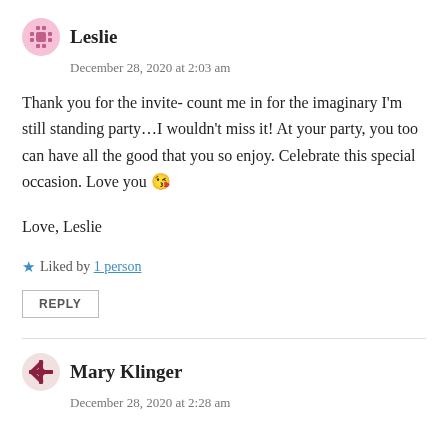Leslie
December 28, 2020 at 2:03 am
Thank you for the invite- count me in for the imaginary I'm still standing party…I wouldn't miss it! At your party, you too can have all the good that you so enjoy. Celebrate this special occasion. Love you 😘
Love, Leslie
Liked by 1 person
REPLY
Mary Klinger
December 28, 2020 at 2:28 am